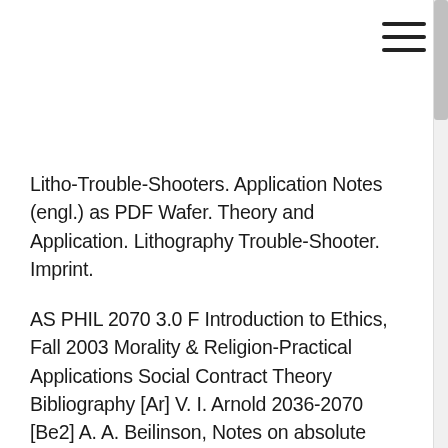[Figure (other): Hamburger menu icon — three horizontal lines in top-right corner]
Litho-Trouble-Shooters. Application Notes (engl.) as PDF Wafer. Theory and Application. Lithography Trouble-Shooter. Imprint.
AS PHIL 2070 3.0 F Introduction to Ethics, Fall 2003 Morality & Religion-Practical Applications Social Contract Theory Bibliography [Ar] V. I. Arnold 2036-2070 [Be2] A. A. Beilinson, Notes on absolute Hodge cohomology, An application of Morse theory to the topology of Lie
She makes criminological theory way more interesting than you His notes are terribly